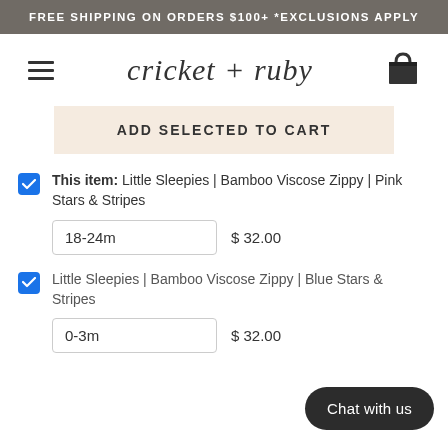FREE SHIPPING ON ORDERS $100+ *EXCLUSIONS APPLY
[Figure (logo): cricket + ruby script logo with hamburger menu and shopping bag icon]
ADD SELECTED TO CART
This item: Little Sleepies | Bamboo Viscose Zippy | Pink Stars & Stripes — 18-24m — $32.00
Little Sleepies | Bamboo Viscose Zippy | Blue Stars & Stripes — 0-3m — $32.00